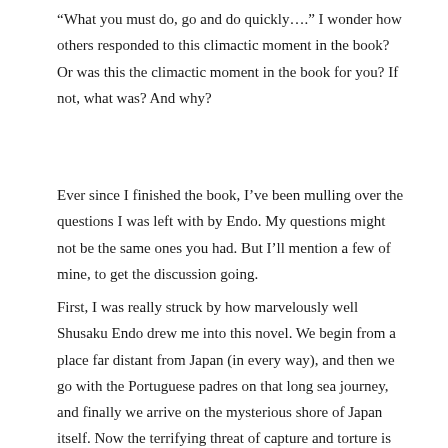“What you must do, go and do quickly….” I wonder how others responded to this climactic moment in the book? Or was this the climactic moment in the book for you? If not, what was? And why?
Ever since I finished the book, I’ve been mulling over the questions I was left with by Endo. My questions might not be the same ones you had. But I’ll mention a few of mine, to get the discussion going.
First, I was really struck by how marvelously well Shusaku Endo drew me into this novel. We begin from a place far distant from Japan (in every way), and then we go with the Portuguese padres on that long sea journey, and finally we arrive on the mysterious shore of Japan itself. Now the terrifying threat of capture and torture is hanging over our heads at every instant, and we are kept in suspense as we travel with Father Rodrigues through the gradual, step-by-step revelation of Japan: the actual place as it